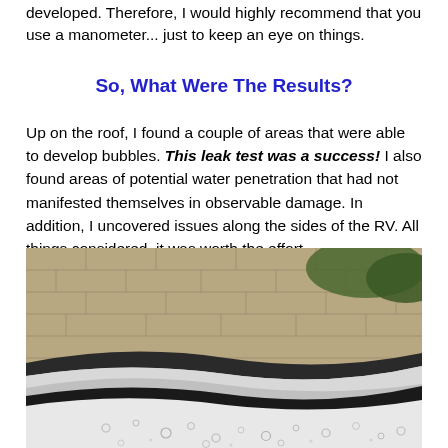developed. Therefore, I would highly recommend that you use a manometer... just to keep an eye on things.
So, What Were The Results?
Up on the roof, I found a couple of areas that were able to develop bubbles. This leak test was a success! I also found areas of potential water penetration that had not manifested themselves in observable damage. In addition, I uncovered issues along the sides of the RV. All things considered, it was worth the effort.
[Figure (photo): Close-up photo of an RV roof edge showing water/bubbles on the roof surface, with a concrete wall and greenery visible in the background. The RV's metallic trim/edge is visible with water droplets and soapy bubbles on a white rubber roof surface.]